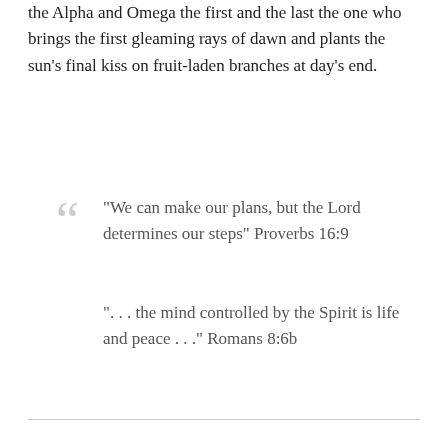the Alpha and Omega  the first and the last  the one who brings the first gleaming rays of dawn and plants the sun's final kiss on fruit-laden branches at day's end.
"We can make our plans, but the Lord determines our steps" Proverbs 16:9
"... the mind controlled by the Spirit is life and peace ..." Romans 8:6b